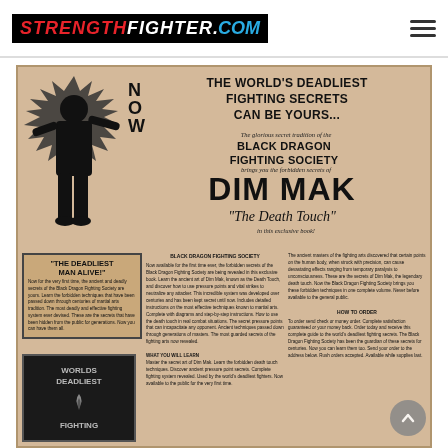STRENGTHFIGHTER.COM
[Figure (photo): Vintage black-and-white magazine advertisement for the Black Dragon Fighting Society's book on Dim Mak ('The Death Touch'). Features a silhouetted martial artist figure, bold headline text reading 'THE WORLD'S DEADLIEST FIGHTING SECRETS CAN BE YOURS...', 'BLACK DRAGON FIGHTING SOCIETY', 'DIM MAK', '"The Death Touch"', a box titled '"THE DEADLIEST MAN ALIVE!"', a book image labeled 'WORLDS DEADLIEST FIGHTING', and two columns of small body text at the bottom.]